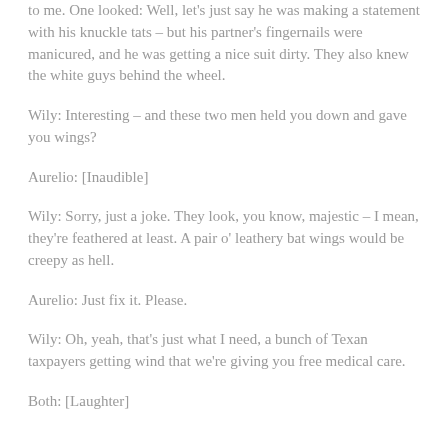to me. One looked: Well, let's just say he was making a statement with his knuckle tats – but his partner's fingernails were manicured, and he was getting a nice suit dirty. They also knew the white guys behind the wheel.
Wily: Interesting – and these two men held you down and gave you wings?
Aurelio: [Inaudible]
Wily: Sorry, just a joke. They look, you know, majestic – I mean, they're feathered at least. A pair o' leathery bat wings would be creepy as hell.
Aurelio: Just fix it. Please.
Wily: Oh, yeah, that's just what I need, a bunch of Texan taxpayers getting wind that we're giving you free medical care.
Both: [Laughter]